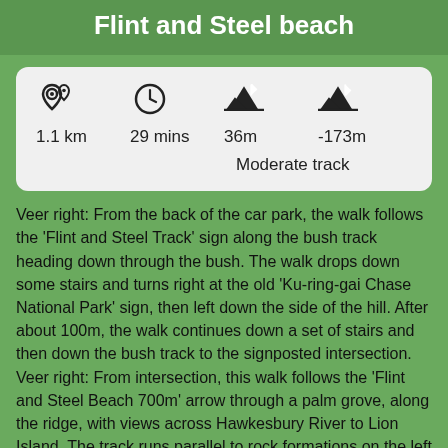Flint and Steel beach
| Distance | Time | Ascent | Descent |
| --- | --- | --- | --- |
| 1.1 km | 29 mins | 36m | -173m |
Veer right: From the back of the car park, the walk follows the 'Flint and Steel Track' sign along the bush track heading down through the bush. The walk drops down some stairs and turns right at the old 'Ku-ring-gai Chase National Park' sign, then left down the side of the hill. After about 100m, the walk continues down a set of stairs and then down the bush track to the signposted intersection. Veer right: From intersection, this walk follows the 'Flint and Steel Beach 700m' arrow through a palm grove, along the ridge, with views across Hawkesbury River to Lion Island. The track runs parallel to rock formations on the left before